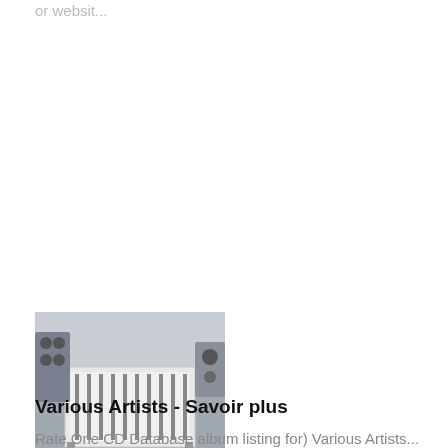or websit...
[Figure (photo): Industrial machinery with a white rectangular frame/tray and roller conveyor system, set in a factory or warehouse environment]
Various Artists - Savoir plus
Rate One CD Database album listing for) Various Artists...